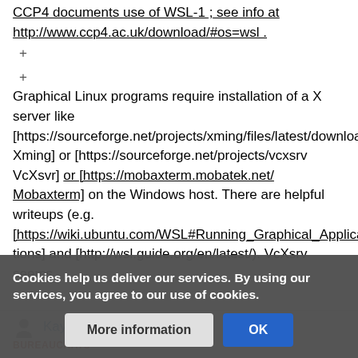CCP4 documents use of WSL-1 ; see info at http://www.ccp4.ac.uk/download/#os=wsl .
+
+
Graphical Linux programs require installation of a X server like [https://sourceforge.net/projects/xming/files/latest/download Xming] or [https://sourceforge.net/projects/vcxsrv VcXsvr] or [https://mobaxterm.mobatek.net/ Mobaxterm] on the Windows host. There are helpful writeups (e.g. [https://wiki.ubuntu.com/WSL#Running_Graphical_Applications] and [http://wsl.guide.org/en/latest/). VcXsrv seems
Kay
BUREAUCRATS
Cookies help us deliver our services. By using our services, you agree to our use of cookies.